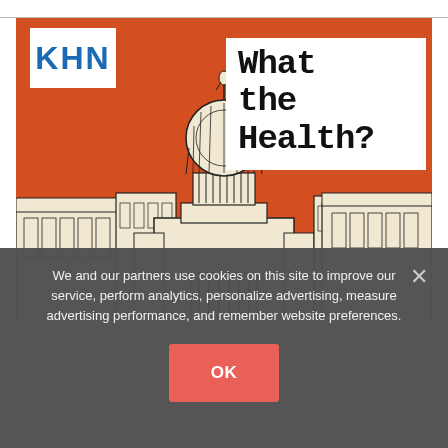[Figure (illustration): KHN 'What the Health?' podcast cover art: orange background with illustrated U.S. Capitol building and surrounding government buildings in black and cream line-art style. KHN logo in white box top-left, 'What the Health?' title text in white box top-right.]
We and our partners use cookies on this site to improve our service, perform analytics, personalize advertising, measure advertising performance, and remember website preferences.
OK